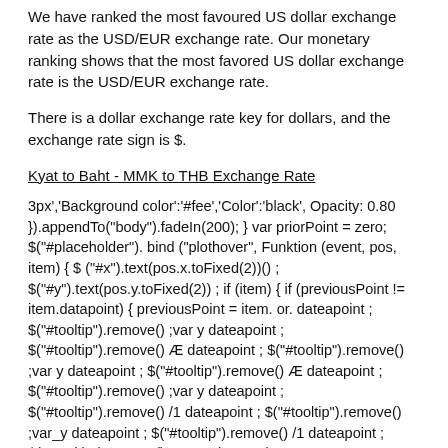We have ranked the most favoured US dollar exchange rate as the USD/EUR exchange rate. Our monetary ranking shows that the most favored US dollar exchange rate is the USD/EUR exchange rate.
There is a dollar exchange rate key for dollars, and the exchange rate sign is $.
Kyat to Baht - MMK to THB Exchange Rate
3px','Background color':'#fee','Color':'black', Opacity: 0.80 }).appendTo("body").fadeIn(200); } var priorPoint = zero; $("#placeholder"). bind ("plothover", Funktion (event, pos, item) { $ ("#x").text(pos.x.toFixed(2))() ; $("#y").text(pos.y.toFixed(2)) ; if (item) { if (previousPoint != item.datapoint) { previousPoint = item. or. dateapoint ; $("#tooltip").remove() ;var y dateapoint ; $("#tooltip").remove() Æ dateapoint ; $("#tooltip").remove() ;var y dateapoint ; $("#tooltip").remove() Æ dateapoint ; $("#tooltip").remove() ;var y dateapoint ; $("#tooltip").remove() /1 dateapoint ; $("#tooltip").remove() ;var_y dateapoint ; $("#tooltip").remove() /1 dateapoint ; $("#tooltip").remove() ;var_1 dateapoint ; $("#tooltip").remove() /1 dateapoint ; $("#tooltip").remove() ;var #1 dateapoint ; $("#tooltip").remove()